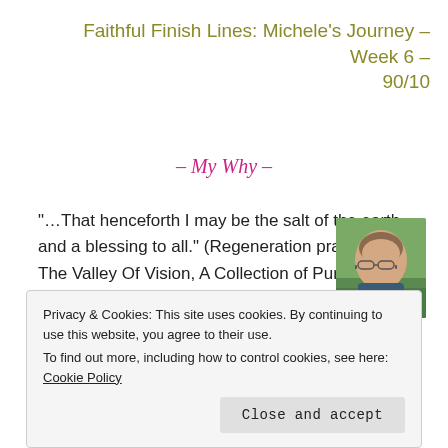Faithful Finish Lines: Michele’s Journey – Week 6 – 90/10
– My Why –
“…That henceforth I may be the salt of the earth and a blessing to all.” (Regeneration prayer from The Valley Of Vision, A Collection of Puritan Prayers )
[Figure (photo): Portrait photo of a woman with glasses outdoors with green background]
Follow by Pati… [partially visible text]
Privacy & Cookies: This site uses cookies. By continuing to use this website, you agree to their use.
To find out more, including how to control cookies, see here: Cookie Policy
Close and accept